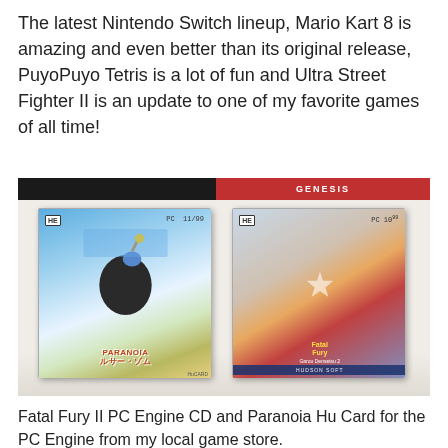The latest Nintendo Switch lineup, Mario Kart 8 is amazing and even better than its original release, PuyoPuyo Tetris is a lot of fun and Ultra Street Fighter II is an update to one of my favorite games of all time!
[Figure (photo): Photo of two PC Engine game cases on a shelf: Paranoia (HuCard) on the left and Fatal Fury II (PC Engine CD) on the right. Both have price stickers. A Sega Genesis game box is visible in the background.]
Fatal Fury II PC Engine CD and Paranoia Hu Card for the PC Engine from my local game store.